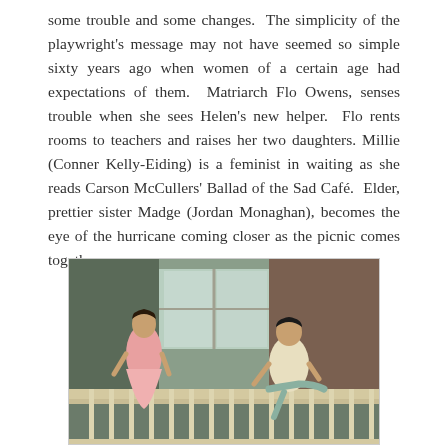some trouble and some changes.  The simplicity of the playwright's message may not have seemed so simple sixty years ago when women of a certain age had expectations of them.  Matriarch Flo Owens, senses trouble when she sees Helen's new helper.  Flo rents rooms to teachers and raises her two daughters. Millie (Conner Kelly-Eiding) is a feminist in waiting as she reads Carson McCullers' Ballad of the Sad Café.  Elder, prettier sister Madge (Jordan Monaghan), becomes the eye of the hurricane coming closer as the picnic comes together.
[Figure (photo): Two actors on a porch set: a woman in a pink dress on the left and a man in casual clothes sitting on a railing on the right, in a theatrical production.]